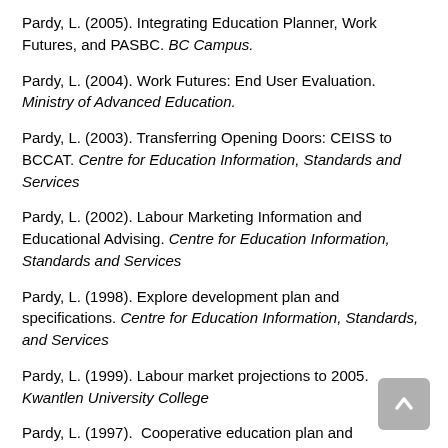Pardy, L. (2005). Integrating Education Planner, Work Futures, and PASBC. BC Campus.
Pardy, L. (2004). Work Futures: End User Evaluation. Ministry of Advanced Education.
Pardy, L. (2003). Transferring Opening Doors: CEISS to BCCAT. Centre for Education Information, Standards and Services
Pardy, L. (2002). Labour Marketing Information and Educational Advising. Centre for Education Information, Standards and Services
Pardy, L. (1998). Explore development plan and specifications. Centre for Education Information, Standards, and Services
Pardy, L. (1999). Labour market projections to 2005. Kwantlen University College
Pardy, L. (1997). Cooperative education plan and